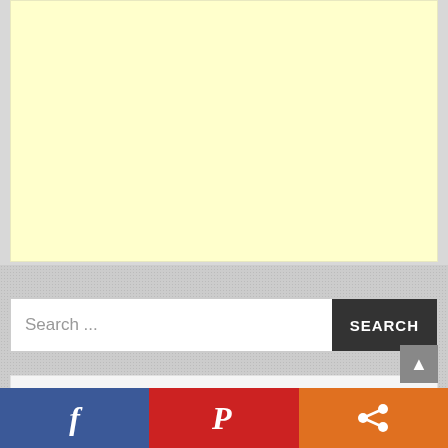[Figure (other): Yellow/cream colored advertisement placeholder block]
[Figure (screenshot): Search bar with text 'Search ...' and dark SEARCH button on gray textured background]
[Figure (other): White/light gray content box area]
[Figure (other): Social sharing bar with Facebook (blue), Pinterest (red), and Share (orange) buttons at the bottom]